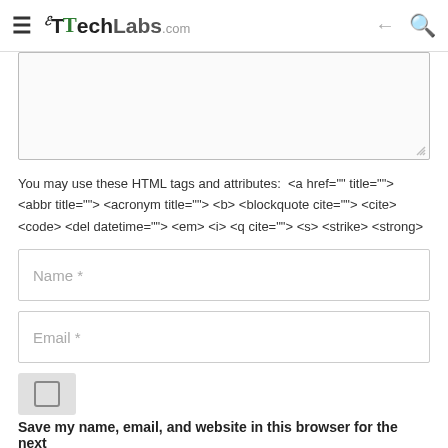TheTechLabs.com
You may use these HTML tags and attributes: <a href="" title=""> <abbr title=""> <acronym title=""> <b> <blockquote cite=""> <cite> <code> <del datetime=""> <em> <i> <q cite=""> <s> <strike> <strong>
Name *
Email *
Save my name, email, and website in this browser for the next